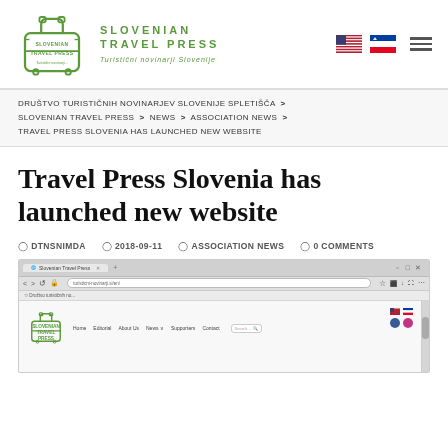[Figure (logo): Slovenian Travel Press logo with suitcase icon and green text]
SLOVENIAN TRAVEL PRESS
DRUŠTVO TURISTIČNIH NOVINARJEV SLOVENIJE SPLETIŠČA > SLOVENIAN TRAVEL PRESS > NEWS > ASSOCIATION NEWS > TRAVEL PRESS SLOVENIA HAS LAUNCHED NEW WEBSITE
Travel Press Slovenia has launched new website
DTNSNIMDA   2018-09-11   ASSOCIATION NEWS   0 COMMENTS
[Figure (screenshot): Screenshot of the Slovenian Travel Press website homepage showing browser chrome with URL bar and site navigation including Home, Editorial, About Us, News, Supporters, Contact]